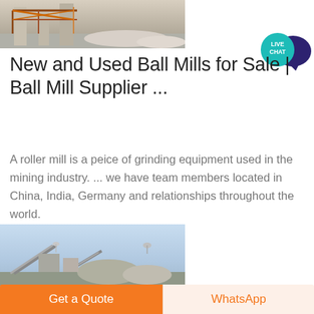[Figure (photo): Industrial mining/construction site with scaffolding and machinery, concrete structure visible]
[Figure (illustration): Live Chat speech bubble icon — teal circle with 'LIVE CHAT' text and dark blue speech bubble behind it]
New and Used Ball Mills for Sale | Ball Mill Supplier ...
A roller mill is a peice of grinding equipment used in the mining industry. ... we have team members located in China, India, Germany and relationships throughout the world.
[Figure (photo): Industrial plant/quarry site with conveyor belts, large aggregate piles, and processing equipment under blue sky]
Get a Quote
WhatsApp